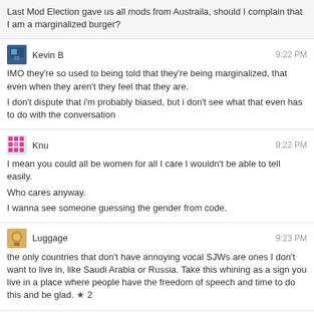Last Mod Election gave us all mods from Austraila, should I complain that I am a marginalized burger?
IMO they're so used to being told that they're being marginalized, that even when they aren't they feel that they are.

I don't dispute that i'm probably biased, but i don't see what that even has to do with the conversation
I mean you could all be women for all I care I wouldn't be able to tell easily.

Who cares anyway.

I wanna see someone guessing the gender from code.
the only countries that don't have annoying vocal SJWs are ones I don't want to live in, like Saudi Arabia or Russia. Take this whining as a sign you live in a place where people have the freedom of speech and time to do this and be glad. ★2
when I initialize i and j and then do {i,j} in the browser console, it seems to return the second (j) every time.
if someone has cheese, crunchy shell, and meat in their code, assume they are a crunchwrap supreme.
@Knu downvotes on SO meta work differently to how they work on main. They are